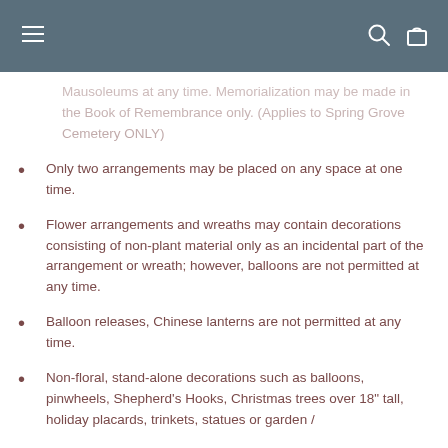Mausoleums at any time. Memorialization may be made in the Book of Remembrance only. (Applies to Spring Grove Cemetery ONLY)
Only two arrangements may be placed on any space at one time.
Flower arrangements and wreaths may contain decorations consisting of non-plant material only as an incidental part of the arrangement or wreath; however, balloons are not permitted at any time.
Balloon releases, Chinese lanterns are not permitted at any time.
Non-floral, stand-alone decorations such as balloons, pinwheels, Shepherd's Hooks, Christmas trees over 18" tall, holiday placards, trinkets, statues or garden /